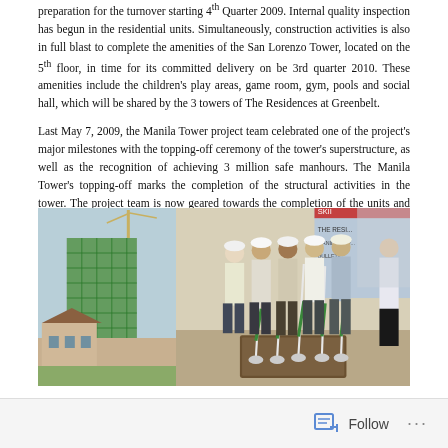preparation for the turnover starting 4th Quarter 2009. Internal quality inspection has begun in the residential units. Simultaneously, construction activities is also in full blast to complete the amenities of the San Lorenzo Tower, located on the 5th floor, in time for its committed delivery on be 3rd quarter 2010. These amenities include the children's play areas, game room, gym, pools and social hall, which will be shared by the 3 towers of The Residences at Greenbelt.
Last May 7, 2009, the Manila Tower project team celebrated one of the project's major milestones with the topping-off ceremony of the tower's superstructure, as well as the recognition of achieving 3 million safe manhours. The Manila Tower's topping-off marks the completion of the structural activities in the tower. The project team is now geared towards the completion of the units and the common areas.
[Figure (photo): Two side-by-side photos: left shows a high-rise building under construction wrapped in green scaffolding netting with a crane visible, and a lower traditional building in the foreground. Right shows a group of people in hard hats holding shovels over a box of dirt at a topping-off ceremony, with a banner reading 'THE RESIDENCES' and 'BSK' in the background.]
Follow ...